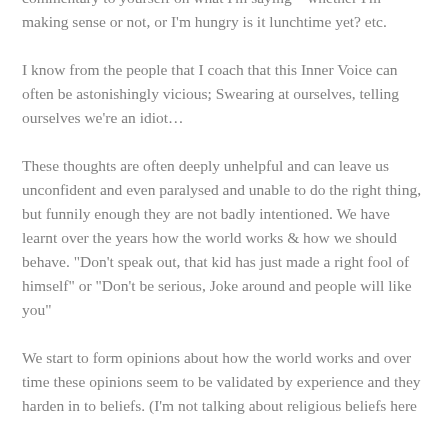off. As I'm speaking to you know, you can't help but run a commentary to yourself on what I'm saying – whether I'm making sense or not, or I'm hungry is it lunchtime yet? etc.
I know from the people that I coach that this Inner Voice can often be astonishingly vicious; Swearing at ourselves, telling ourselves we're an idiot…
These thoughts are often deeply unhelpful and can leave us unconfident and even paralysed and unable to do the right thing, but funnily enough they are not badly intentioned. We have learnt over the years how the world works & how we should behave. "Don't speak out, that kid has just made a right fool of himself" or "Don't be serious, Joke around and people will like you"
We start to form opinions about how the world works and over time these opinions seem to be validated by experience and they harden in to beliefs. (I'm not talking about religious beliefs here